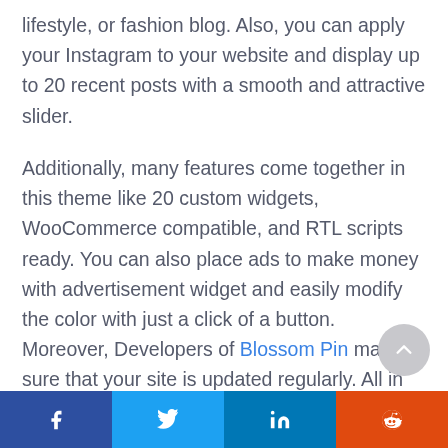lifestyle, or fashion blog. Also, you can apply your Instagram to your website and display up to 20 recent posts with a smooth and attractive slider.

Additionally, many features come together in this theme like 20 custom widgets, WooCommerce compatible, and RTL scripts ready. You can also place ads to make money with advertisement widget and easily modify the color with just a click of a button. Moreover, Developers of Blossom Pin make sure that your site is updated regularly. All in
Share buttons: Facebook, Twitter, LinkedIn, Reddit